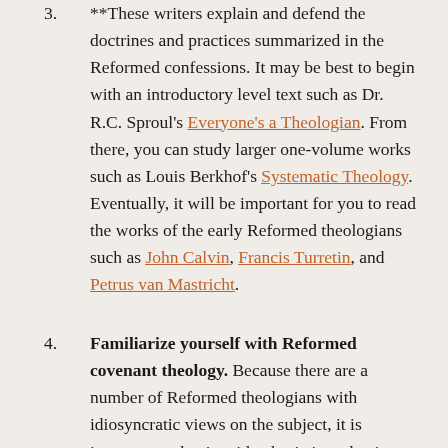**These writers explain and defend the doctrines and practices summarized in the Reformed confessions. It may be best to begin with an introductory level text such as Dr. R.C. Sproul's Everyone's a Theologian. From there, you can study larger one-volume works such as Louis Berkhof's Systematic Theology. Eventually, it will be important for you to read the works of the early Reformed theologians such as John Calvin, Francis Turretin, and Petrus van Mastricht.
Familiarize yourself with Reformed covenant theology. Because there are a number of Reformed theologians with idiosyncratic views on the subject, it is important to begin with a basic introduction. In my opinion, the single best one-volume introduction to